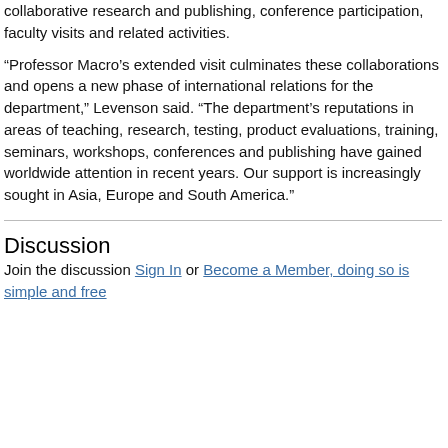collaborative research and publishing, conference participation, faculty visits and related activities.
“Professor Macro’s extended visit culminates these collaborations and opens a new phase of international relations for the department,” Levenson said. “The department’s reputations in areas of teaching, research, testing, product evaluations, training, seminars, workshops, conferences and publishing have gained worldwide attention in recent years. Our support is increasingly sought in Asia, Europe and South America.”
Discussion
Join the discussion Sign In or Become a Member, doing so is simple and free